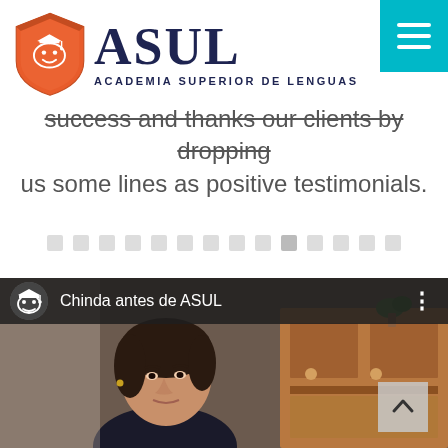ASUL — Academia Superior de Lenguas
success and thanks our clients by dropping us some lines as positive testimonials.
[Figure (other): Carousel navigation dots row — small grey squares indicating pagination]
[Figure (screenshot): Video screenshot showing a woman being interviewed, title overlay reads 'Chinda antes de ASUL' with channel avatar on top bar]